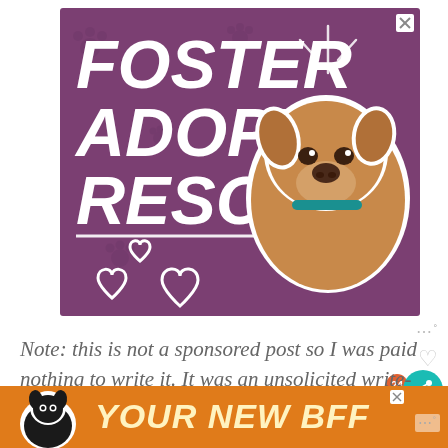[Figure (illustration): Purple advertisement banner for pet adoption: bold white italic text reading FOSTER ADOPT RESCUE with a white divider line, decorative sparkle lines top right, three white outline hearts bottom left, paw print background pattern, and a photo of a tan/brown pit bull type dog wearing a teal collar on the right side.]
Note: this is not a sponsored post so I was paid nothing to write it. It was an unsolicited write-up I chose to do as I enjoyed staying here
[Figure (illustration): Orange advertisement banner at bottom with a black dog silhouette/photo on the left and bold yellow-white italic text reading YOUR NEW BFF on orange background.]